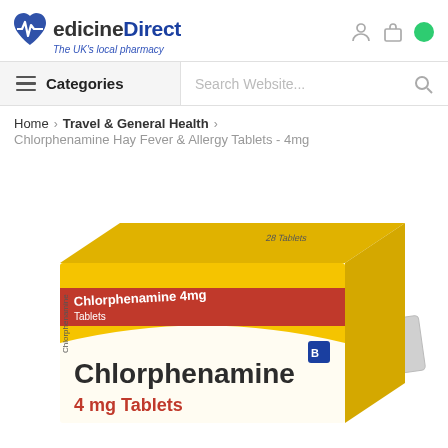[Figure (logo): Medicine Direct logo with heart/pulse icon, text 'Medicine Direct' and tagline 'The UK's local pharmacy']
Categories | Search Website...
Home > Travel & General Health > Chlorphenamine Hay Fever & Allergy Tablets - 4mg
[Figure (photo): Product photo of Chlorphenamine 4mg Tablets box (yellow and white packaging) with blister pack visible. Box reads 'Chlorphenamine 4mg Tablets', '28 Tablets'.]